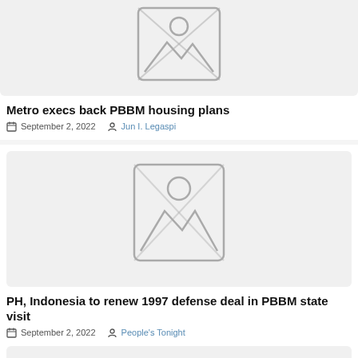[Figure (illustration): Placeholder image with mountain/landscape icon on grey background (partial, top of page)]
Metro execs back PBBM housing plans
September 2, 2022   Jun I. Legaspi
[Figure (illustration): Placeholder image with mountain/landscape icon on grey background]
PH, Indonesia to renew 1997 defense deal in PBBM state visit
September 2, 2022   People's Tonight
[Figure (illustration): Placeholder image partial at bottom of page]